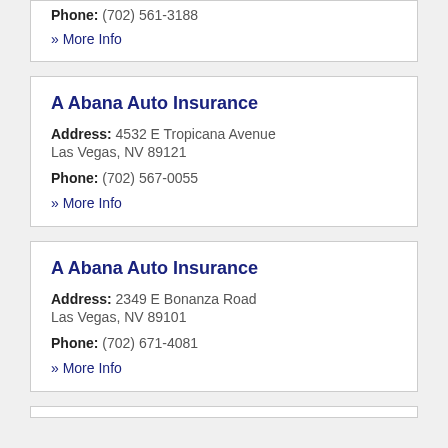Phone: (702) 561-3188
» More Info
A Abana Auto Insurance
Address: 4532 E Tropicana Avenue Las Vegas, NV 89121
Phone: (702) 567-0055
» More Info
A Abana Auto Insurance
Address: 2349 E Bonanza Road Las Vegas, NV 89101
Phone: (702) 671-4081
» More Info